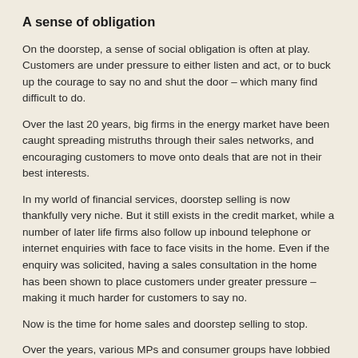A sense of obligation
On the doorstep, a sense of social obligation is often at play. Customers are under pressure to either listen and act, or to buck up the courage to say no and shut the door – which many find difficult to do.
Over the last 20 years, big firms in the energy market have been caught spreading mistruths through their sales networks, and encouraging customers to move onto deals that are not in their best interests.
In my world of financial services, doorstep selling is now thankfully very niche. But it still exists in the credit market, while a number of later life firms also follow up inbound telephone or internet enquiries with face to face visits in the home. Even if the enquiry was solicited, having a sales consultation in the home has been shown to place customers under greater pressure – making it much harder for customers to say no.
Now is the time for home sales and doorstep selling to stop.
Over the years, various MPs and consumer groups have lobbied for it to be banned – but as yet, these have not gained any serious traction.